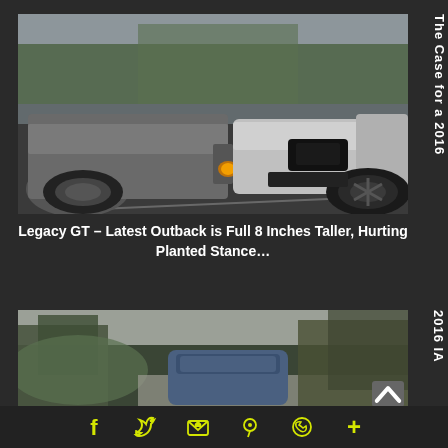[Figure (photo): Two cars facing each other in a parking lot — a gray SUV/wagon on the left and a silver sports car on the right, low angle shot showing front bumpers and wheels]
The Case for a 2016
Legacy GT – Latest Outback is Full 8 Inches Taller, Hurting Planted Stance…
[Figure (photo): A car photographed from above/behind on a forest road with green hills and bare trees in the background]
2016 IA
Social share icons: Facebook, Twitter, Email, Pinterest, WhatsApp, More